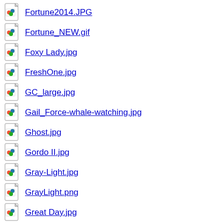Fortune2014.JPG
Fortune_NEW.gif
Foxy Lady.jpg
FreshOne.jpg
GC_large.jpg
Gail_Force-whale-watching.jpg
Ghost.jpg
Gordo II.jpg
Gray-Light.jpg
GrayLight.png
Great Day.jpg